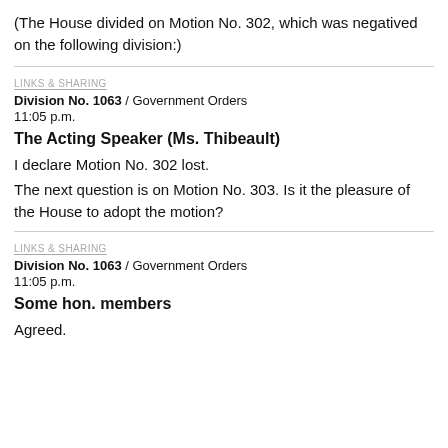(The House divided on Motion No. 302, which was negatived on the following division:)
LINKS & SHARING
Division No. 1063 / Government Orders
11:05 p.m.
The Acting Speaker (Ms. Thibeault)
I declare Motion No. 302 lost.
The next question is on Motion No. 303. Is it the pleasure of the House to adopt the motion?
LINKS & SHARING
Division No. 1063 / Government Orders
11:05 p.m.
Some hon. members
Agreed.